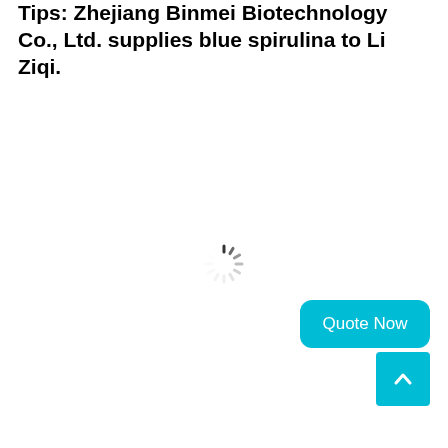Tips: Zhejiang Binmei Biotechnology Co., Ltd. supplies blue spirulina to Li Ziqi.
[Figure (other): Loading spinner (animated circular loading indicator) centered on the page]
Quote Now
[Figure (other): Back to top button with upward chevron arrow icon]